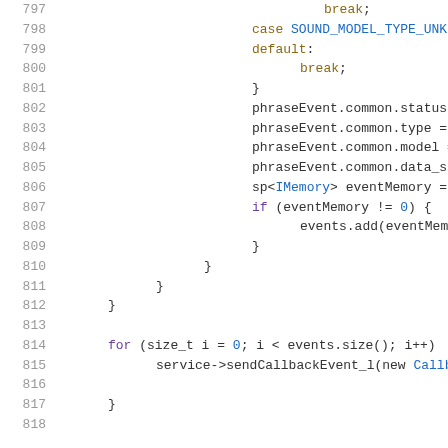[Figure (screenshot): Source code listing in C++ showing lines 797-818, with syntax highlighting. Line numbers in gray on the left, keywords in purple/gold, identifiers in blue, on white background.]